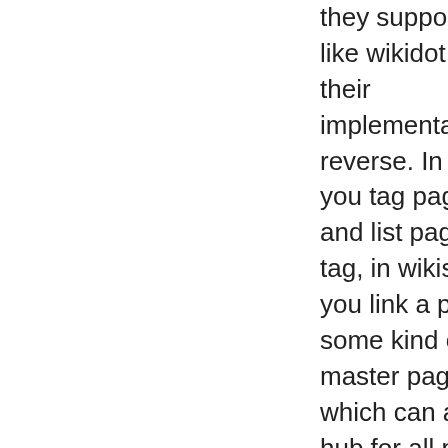they support tags like wikidot but their implementation is reverse. In wikidot you tag pages and list pages by tag, in wikispot you link a page to some kind of master page, which can act as hub for all pages that link to it. Damn, sycamore lacks html tags, which I really